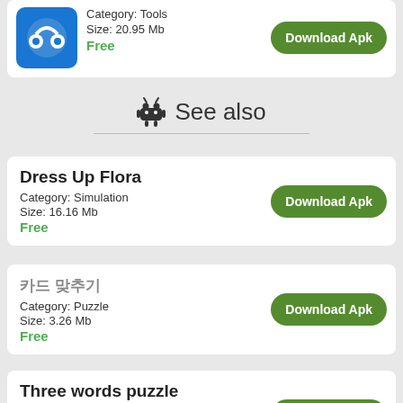[Figure (screenshot): App listing card with blue icon showing headphones/music app. Category: Tools, Size: 20.95 Mb, Free, Download Apk button]
See also
Dress Up Flora
Category: Simulation
Size: 16.16 Mb
Free
카드 맞추기
Category: Puzzle
Size: 3.26 Mb
Free
Three words puzzle
Category: Puzzle
Size: 1.97 Mb
Free